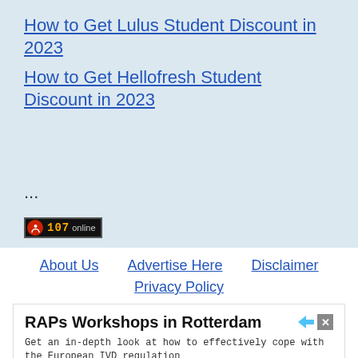How to Get Lulus Student Discount in 2023
How to Get Hellofresh Student Discount in 2023
...
[Figure (other): Online visitor counter badge showing 107 online]
About Us   Advertise Here   Disclaimer
Privacy Policy
[Figure (other): Advertisement: RAPs Workshops in Rotterdam. Get an in-depth look at how to effectively cope with the European IVD regulation. raps.org. Learn More button.]